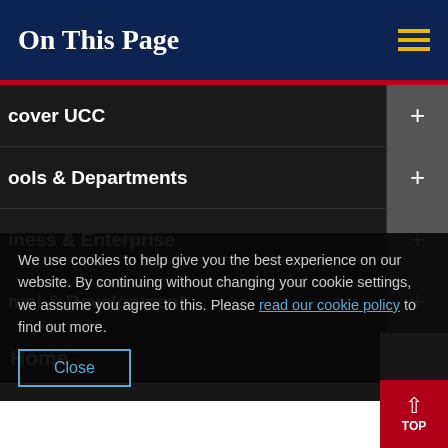On This Page
against me until such time as I may justify mine own doings before your lordship or any competent judge, as I have said before. So praying your lordship's careful providence to me in this cause and
cover UCC
ools & Departments
iness & Enterprise
mni & Development
We use cookies to help give you the best experience on our website. By continuing without changing your cookie settings, we assume you agree to this. Please read our cookie policy to find out more.
Home